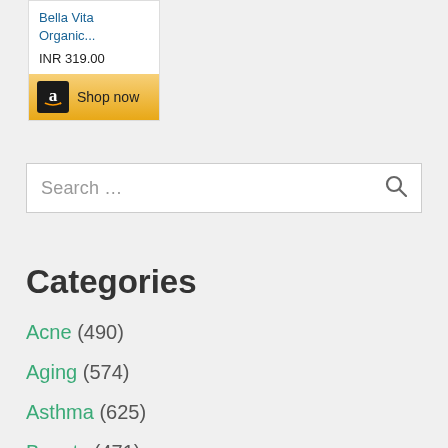[Figure (screenshot): Amazon product card for Bella Vita Organic showing price INR 319.00 and a Shop now button with Amazon logo]
Search …
Categories
Acne (490)
Aging (574)
Asthma (625)
Beauty (471)